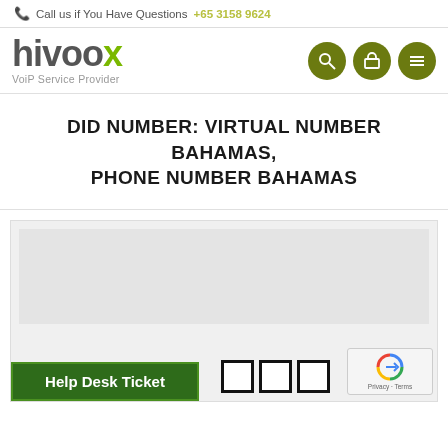Call us if You Have Questions +65 3158 9624
[Figure (logo): hivoox VoiP Service Provider logo with green and grey styling]
DID NUMBER: VIRTUAL NUMBER BAHAMAS, PHONE NUMBER BAHAMAS
[Figure (screenshot): Content area with grey background, a help desk ticket green button at bottom left, QR code squares at bottom center, and reCAPTCHA badge at bottom right]
Help Desk Ticket